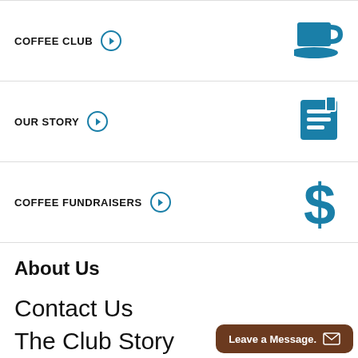COFFEE CLUB →
OUR STORY →
COFFEE FUNDRAISERS →
About Us
Contact Us
The Club Story
Privacy, Terms and Co...
Leave a Message.